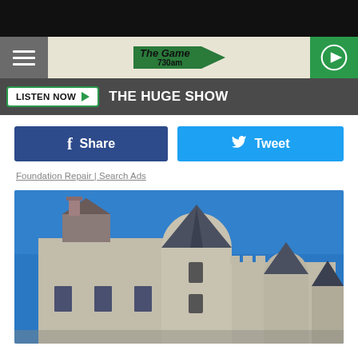[Figure (screenshot): Top black bar of a mobile website]
[Figure (logo): The Game 730am logo with hamburger menu and play button header bar]
LISTEN NOW ▶   THE HUGE SHOW
f  Share
Tweet
Foundation Repair | Search Ads
[Figure (photo): Castle with round turrets and conical roofs against a blue sky]